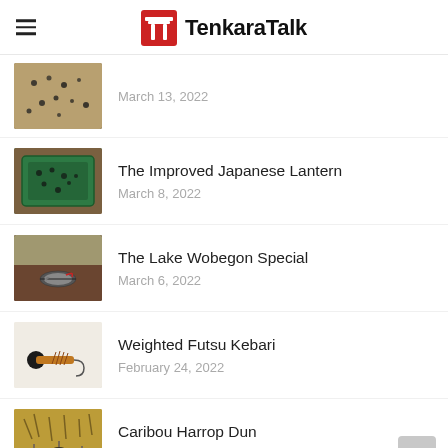TenkaraTalk
[Figure (photo): Small dark fishing flies scattered on a brown surface]
March 13, 2022
[Figure (photo): Fishing flies in a green tackle box]
The Improved Japanese Lantern
March 8, 2022
[Figure (photo): A fishing fly on a brown leather surface]
The Lake Wobegon Special
March 6, 2022
[Figure (photo): A weighted fishing fly (Futsu Kebari) on a white background]
Weighted Futsu Kebari
February 24, 2022
[Figure (photo): Caribou Harrop Dun fly on fur/hair material]
Caribou Harrop Dun
February 23, 2022